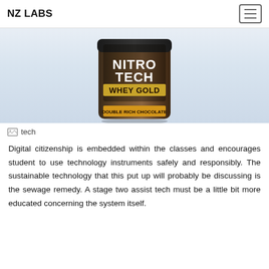NZ LABS
[Figure (photo): Product photo of Nitro Tech Whey Gold Double Rich Chocolate protein powder container against a light blue/white background]
[Figure (photo): Broken image placeholder labeled 'tech']
Digital citizenship is embedded within the classes and encourages student to use technology instruments safely and responsibly. The sustainable technology that this put up will probably be discussing is the sewage remedy. A stage two assist tech must be a little bit more educated concerning the system itself.